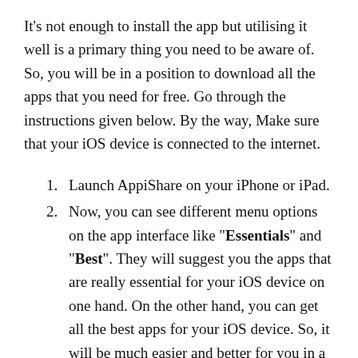It's not enough to install the app but utilising it well is a primary thing you need to be aware of. So, you will be in a position to download all the apps that you need for free. Go through the instructions given below. By the way, Make sure that your iOS device is connected to the internet.
1. Launch AppiShare on your iPhone or iPad.
2. Now, you can see different menu options on the app interface like "Essentials" and "Best". They will suggest you the apps that are really essential for your iOS device on one hand. On the other hand, you can get all the best apps for your iOS device. So, it will be much easier and better for you in a way of installing required